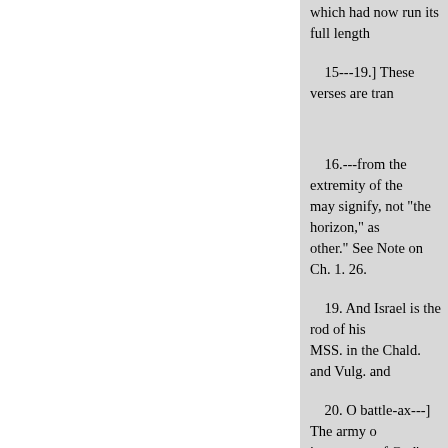which had now run its full length
15---19.] These verses are tran
16.---from the extremity of the may signify, not "the horizon," as other." See Note on Ch. 1. 26.
19. And Israel is the rod of his MSS. in the Chald. and Vulg. and
20. O battle-ax---] The army o instrument of God's vengeance is
25.O destroying mountain---] metaphorically, "a mountain ;" a destroying mountain." "The rock verse, where it is said, ė they sha understand thereby, that they sho should be under the dominion of
27.---Ararat, Minni, and Ashk